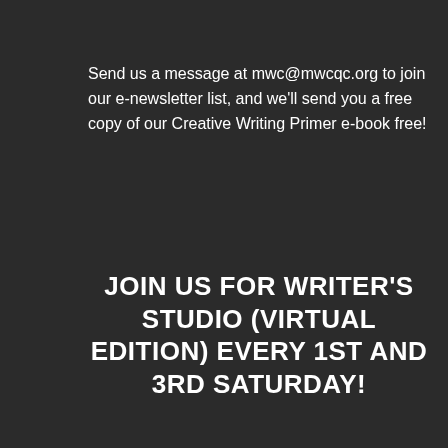Send us a message at mwc@mwcqc.org to join our e-newsletter list, and we'll send you a free copy of our Creative Writing Primer e-book free!
JOIN US FOR WRITER'S STUDIO (VIRTUAL EDITION) EVERY 1ST AND 3RD SATURDAY!
Search …
[Figure (screenshot): Writer's Studio promotional banner with blue/sky background showing text: WRITER'S STUDIO, 1ST & 3RD SATURDAYS, 11 AM - 1 PM]